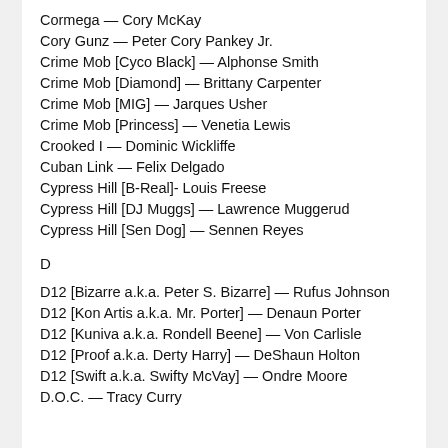Cormega — Cory McKay
Cory Gunz — Peter Cory Pankey Jr.
Crime Mob [Cyco Black] — Alphonse Smith
Crime Mob [Diamond] — Brittany Carpenter
Crime Mob [MIG] — Jarques Usher
Crime Mob [Princess] — Venetia Lewis
Crooked I — Dominic Wickliffe
Cuban Link — Felix Delgado
Cypress Hill [B-Real]- Louis Freese
Cypress Hill [DJ Muggs] — Lawrence Muggerud
Cypress Hill [Sen Dog] — Sennen Reyes
D
D12 [Bizarre a.k.a. Peter S. Bizarre] — Rufus Johnson
D12 [Kon Artis a.k.a. Mr. Porter] — Denaun Porter
D12 [Kuniva a.k.a. Rondell Beene] — Von Carlisle
D12 [Proof a.k.a. Derty Harry] — DeShaun Holton
D12 [Swift a.k.a. Swifty McVay] — Ondre Moore
D.O.C. — Tracy Curry